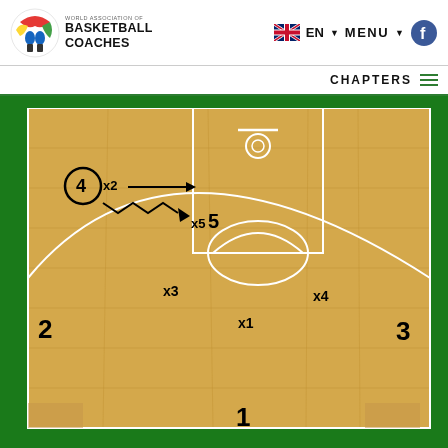[Figure (logo): World Association of Basketball Coaches logo with colorful brain/figure icon]
EN   MENU
CHAPTERS
[Figure (illustration): Basketball half-court diagram showing positions: player 4 (circled, with ball) passing/screening with x2, arrows indicating movement to x5 and player 5. Players x3, x4, x1 in the paint area, player 2 on left wing, player 3 on right wing, player 1 at the top.]